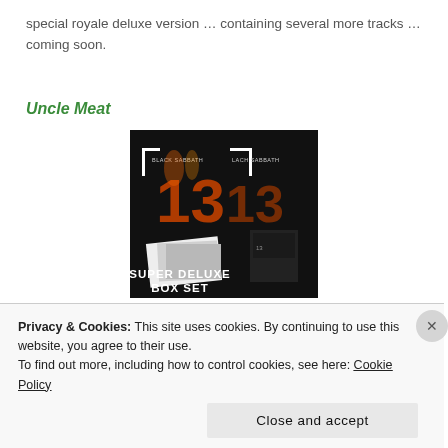special royale deluxe version … containing several more tracks … coming soon.
Uncle Meat
[Figure (photo): Black Sabbath '13' Super Deluxe Box Set promotional image showing album artwork and packaging]
Advertisements
[Figure (screenshot): Dark blue advertisement banner with dots pattern]
Privacy & Cookies: This site uses cookies. By continuing to use this website, you agree to their use.
To find out more, including how to control cookies, see here: Cookie Policy
Close and accept